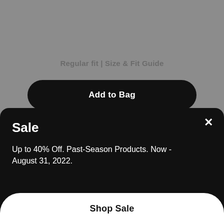Regular fit | Size & Fit Guide
Add to Bag
Browse Used Shorts
Sale
Up to 40% Off. Past-Season Products. Now - August 31, 2022.
Shop Sale